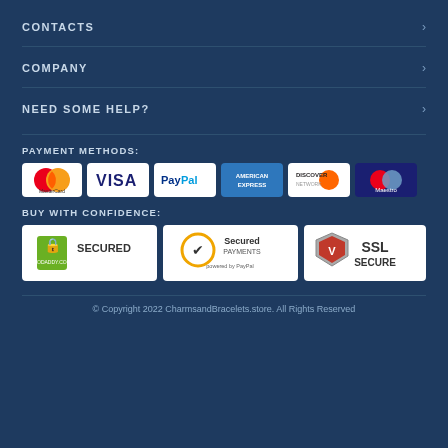CONTACTS
COMPANY
NEED SOME HELP?
PAYMENT METHODS:
[Figure (logo): Payment method logos: MasterCard, VISA, PayPal, American Express, Discover, Maestro]
BUY WITH CONFIDENCE:
[Figure (logo): Trust badges: GoDaddy.com Secured, Secured Payments powered by PayPal, SSL Secure]
© Copyright 2022 CharmsandBracelets.store. All Rights Reserved